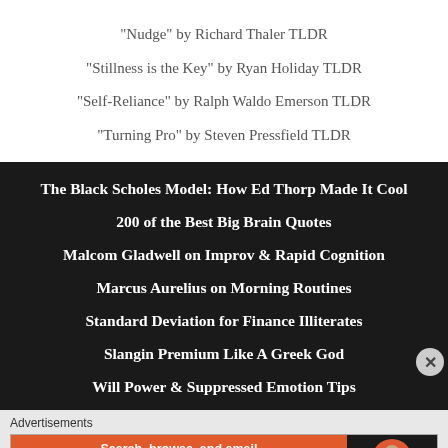“Nudge” by Richard Thaler TLDR
“Stillness is the Key” by Ryan Holiday TLDR
“Self-Reliance” by Ralph Waldo Emerson TLDR
“Turning Pro” by Steven Pressfield TLDR
The Black Scholes Model: How Ed Thorp Made It Cool
200 of the Best Big Brain Quotes
Malcom Gladwell on Improv & Rapid Cognition
Marcus Aurelius on Morning Routines
Standard Deviation for Finance Illiterates
Slangin Premium Like A Greek God
Will Power & Suppressed Emotion Tips
Advertisements
[Figure (other): DuckDuckGo advertisement banner: orange left side with text 'Search, browse, and email with more privacy. All in One Free App', black right side with DuckDuckGo logo]